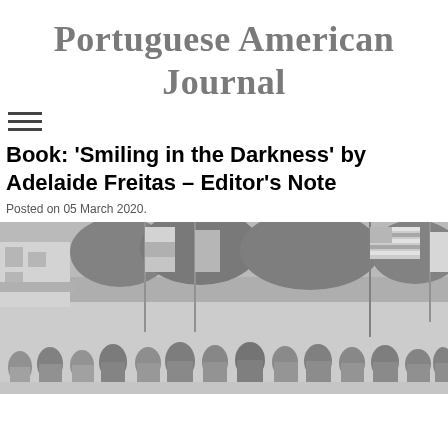Portuguese American Journal
≡
Book: ‘Smiling in the Darkness’ by Adelaide Freitas – Editor’s Note
Posted on 05 March 2020.
[Figure (photo): Black and white photograph of a parade or procession with people carrying flags including an American flag, walking down a street lined with trees and buildings.]